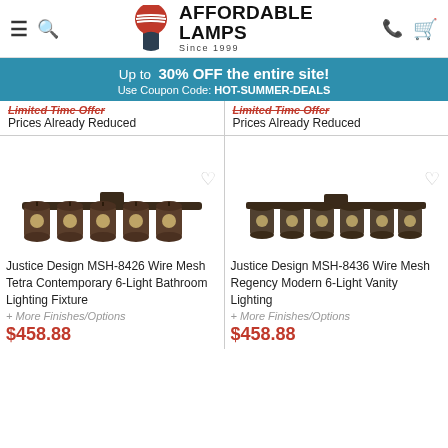Affordable Lamps Since 1999
Up to 30% OFF the entire site! Use Coupon Code: HOT-SUMMER-DEALS
Limited Time Offer
Prices Already Reduced
Limited Time Offer
Prices Already Reduced
[Figure (photo): Justice Design MSH-8426 Wire Mesh Tetra Contemporary 6-Light Bathroom Lighting Fixture – dark bronze vanity bar with 6 cylindrical mesh shades]
[Figure (photo): Justice Design MSH-8436 Wire Mesh Regency Modern 6-Light Vanity Lighting – dark bronze vanity bar with 6 cylindrical mesh shades]
Justice Design MSH-8426 Wire Mesh Tetra Contemporary 6-Light Bathroom Lighting Fixture
+ More Finishes/Options
$458.88
Justice Design MSH-8436 Wire Mesh Regency Modern 6-Light Vanity Lighting
+ More Finishes/Options
$458.88